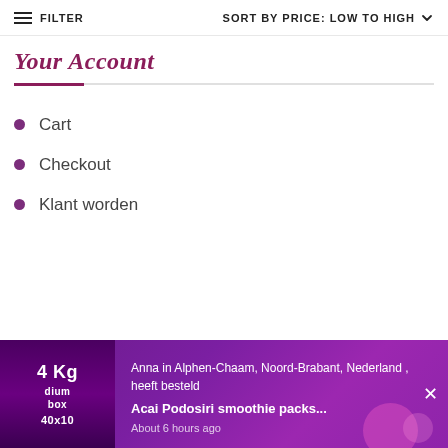FILTER    SORT BY PRICE: LOW TO HIGH
Your Account
Cart
Checkout
Klant worden
[Figure (screenshot): Notification banner showing a product image with '4 Kg dium box 40x10' text, with message: 'Anna in Alphen-Chaam, Noord-Brabant, Nederland , heeft besteld' and product 'Acai Podosiri smoothie packs...' with 'About 6 hours ago', on a purple background with a close X button]